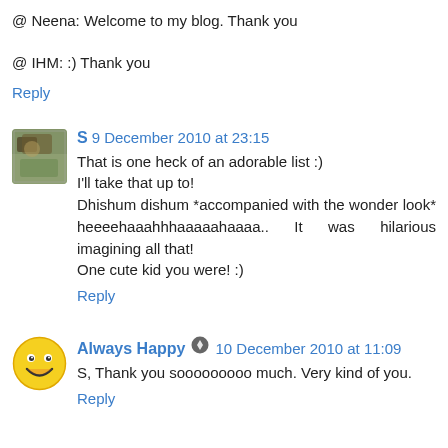@ Neena: Welcome to my blog. Thank you
@ IHM: :) Thank you
Reply
S  9 December 2010 at 23:15
That is one heck of an adorable list :)
I'll take that up to!
Dhishum dishum *accompanied with the wonder look* heeeehaaahhhaaaaahaaaa.. It was hilarious imagining all that!
One cute kid you were! :)
Reply
Always Happy  10 December 2010 at 11:09
S, Thank you sooooooooo much. Very kind of you.
Reply